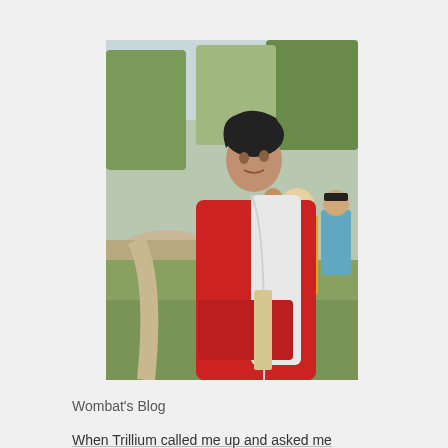[Figure (photo): A teenage boy wearing a red hoodie over a white hooded jacket, standing outdoors in a park or field setting. He is looking back over his shoulder. In the background are several other people, trees, and a gravel path. The scene appears to be a casual outdoor gathering.]
Wombat's Blog
When Trillium called me up and asked me